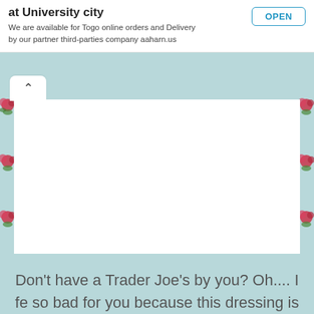at University city
We are available for Togo online orders and Delivery by our partner third-parties company aaharn.us
[Figure (screenshot): White rectangular content card with floral decorative border on left and right sides against a light teal/blue background]
Don't have a Trader Joe's by you? Oh.... I fe so bad for you because this dressing is